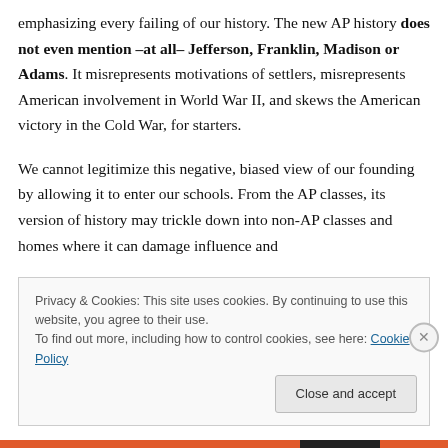emphasizing every failing of our history. The new AP history does not even mention –at all– Jefferson, Franklin, Madison or Adams. It misrepresents motivations of settlers, misrepresents American involvement in World War II, and skews the American victory in the Cold War, for starters.
We cannot legitimize this negative, biased view of our founding by allowing it to enter our schools. From the AP classes, its version of history may trickle down into non-AP classes and homes where it can damage influence and
Privacy & Cookies: This site uses cookies. By continuing to use this website, you agree to their use. To find out more, including how to control cookies, see here: Cookie Policy